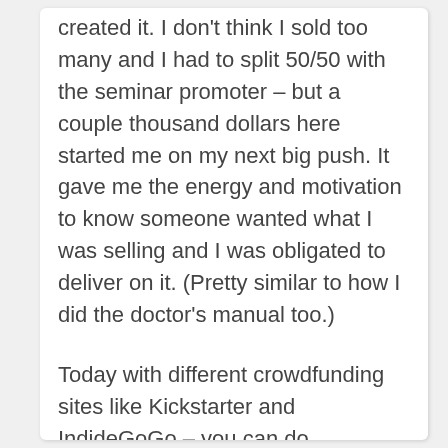created it. I don't think I sold too many and I had to split 50/50 with the seminar promoter – but a couple thousand dollars here started me on my next big push. It gave me the energy and motivation to know someone wanted what I was selling and I was obligated to deliver on it. (Pretty similar to how I did the doctor's manual too.)
Today with different crowdfunding sites like Kickstarter and IndideGoGo – you can do something similar with any idea you've got. You can check the marketplace validation first and foremost before really getting too